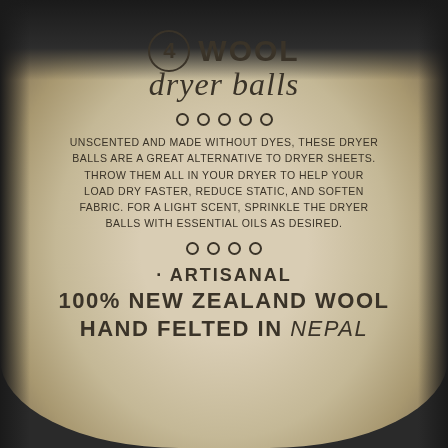[Figure (photo): A fabric/canvas bag with printed text showing product label for 4 Wool Dryer Balls]
4 WOOL dryer balls
UNSCENTED AND MADE WITHOUT DYES, THESE DRYER BALLS ARE A GREAT ALTERNATIVE TO DRYER SHEETS. THROW THEM ALL IN YOUR DRYER TO HELP YOUR LOAD DRY FASTER, REDUCE STATIC, AND SOFTEN FABRIC. FOR A LIGHT SCENT, SPRINKLE THE DRYER BALLS WITH ESSENTIAL OILS AS DESIRED.
ARTISANAL
100% NEW ZEALAND WOOL
HAND FELTED IN NEPAL